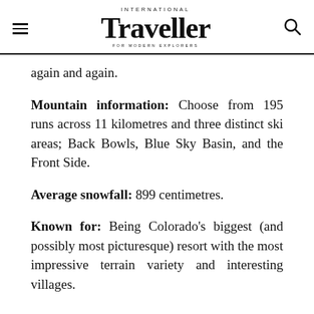International Traveller — FOR MODERN EXPLORERS
again and again.
Mountain information: Choose from 195 runs across 11 kilometres and three distinct ski areas; Back Bowls, Blue Sky Basin, and the Front Side.
Average snowfall: 899 centimetres.
Known for: Being Colorado's biggest (and possibly most picturesque) resort with the most impressive terrain variety and interesting villages.